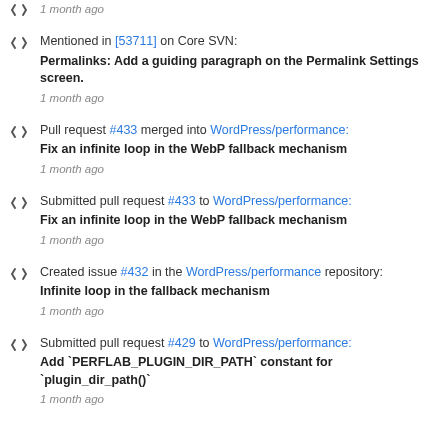1 month ago
Mentioned in [53711] on Core SVN: Permalinks: Add a guiding paragraph on the Permalink Settings screen. 1 month ago
Pull request #433 merged into WordPress/performance: Fix an infinite loop in the WebP fallback mechanism 1 month ago
Submitted pull request #433 to WordPress/performance: Fix an infinite loop in the WebP fallback mechanism 1 month ago
Created issue #432 in the WordPress/performance repository: Infinite loop in the fallback mechanism 1 month ago
Submitted pull request #429 to WordPress/performance: Add `PERFLAB_PLUGIN_DIR_PATH` constant for `plugin_dir_path()` 1 month ago